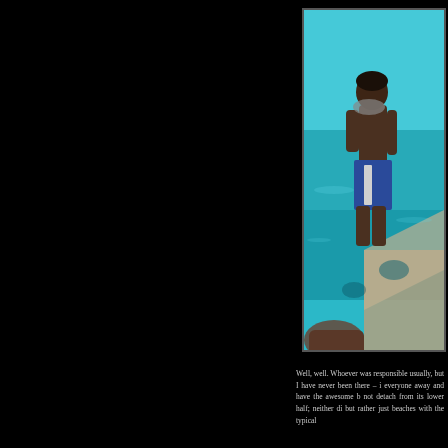[Figure (photo): A boy standing near turquoise water, viewed from behind, wearing blue shorts, near a wooden pier or railing. Another partial figure visible at the bottom.]
Well, well. Whoever was responsible usually, but I have never been there – i everyone away and have the awesome b not detach from its lower half; neither di but rather just beaches with the typical